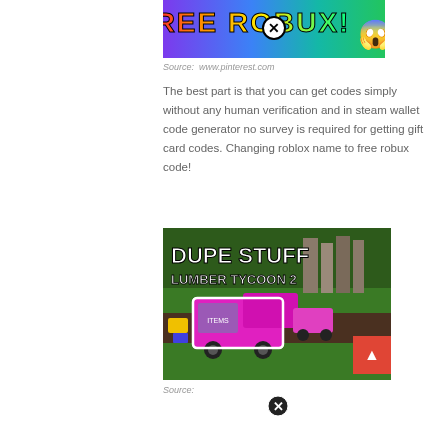[Figure (screenshot): Screenshot of a 'FREE ROBUX!' clickbait banner image with colorful text on a purple/teal gradient background, showing a circle-X close button and a shocked emoji face]
Source: www.pinterest.com
The best part is that you can get codes simply without any human verification and in steam wallet code generator no survey is required for getting gift card codes. Changing roblox name to free robux code!
[Figure (screenshot): Screenshot of a Roblox game 'DUPE STUFF LUMBER TYCOON 2' showing pink vehicles and game items on a green map with white bold text overlay]
Source: